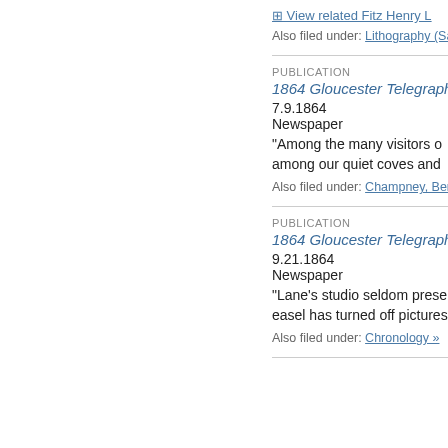View related Fitz Henry L
Also filed under: Lithography (Sa
PUBLICATION
1864 Gloucester Telegraph
7.9.1864
Newspaper
"Among the many visitors o among our quiet coves and
Also filed under: Champney, Ber
PUBLICATION
1864 Gloucester Telegraph
9.21.1864
Newspaper
"Lane's studio seldom prese easel has turned off pictures
Also filed under: Chronology »